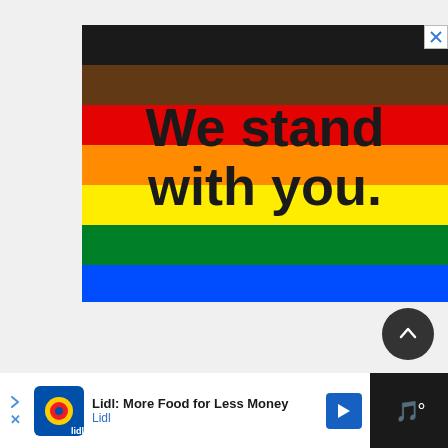[Figure (illustration): Pride/Progress flag advertisement with text 'We stand with you.' overlaid on rainbow stripes. Stripes from top: black, brown, red, orange, yellow, green, blue, purple. Close button (X) in top right corner.]
[Figure (illustration): Dark circular scroll-to-top button with upward arrow, positioned bottom right of the ad area.]
[Figure (screenshot): Bottom advertisement bar: Lidl ad reading 'Lidl: More Food for Less Money' with Lidl logo, navigation arrow icon, and music/audio icon on dark right side.]